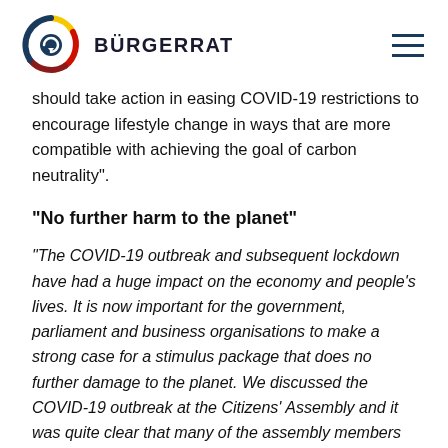BÜRGERRAT
should take action in easing COVID-19 restrictions to encourage lifestyle change in ways that are more compatible with achieving the goal of carbon neutrality".
"No further harm to the planet"
"The COVID-19 outbreak and subsequent lockdown have had a huge impact on the economy and people's lives. It is now important for the government, parliament and business organisations to make a strong case for a stimulus package that does no further damage to the planet. We discussed the COVID-19 outbreak at the Citizens' Assembly and it was quite clear that many of the assembly members believe that the current moment